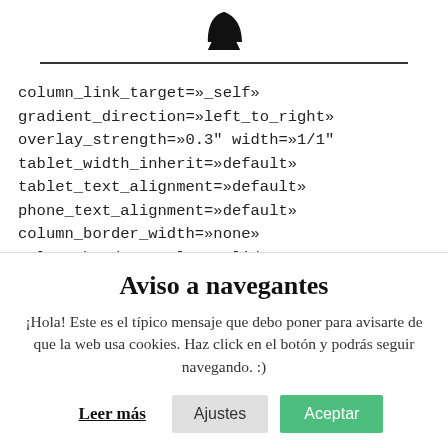[Figure (logo): Black shark fin logo icon]
column_link_target=»_self»
gradient_direction=»left_to_right»
overlay_strength=»0.3" width=»1/1"
tablet_width_inherit=»default»
tablet_text_alignment=»default»
phone_text_alignment=»default»
column_border_width=»none»
column_border_style=»solid»
Aviso a navegantes
¡Hola! Este es el típico mensaje que debo poner para avisarte de que la web usa cookies. Haz click en el botón y podrás seguir navegando. :)